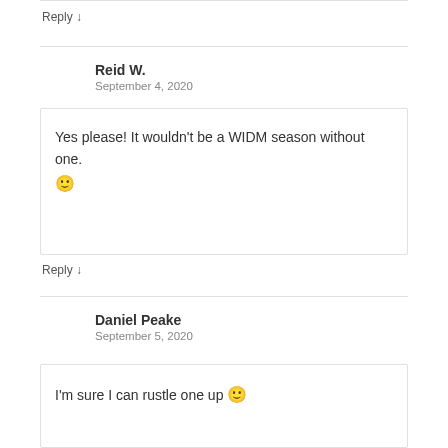Reply ↓
Reid W.
September 4, 2020
Yes please! It wouldn't be a WIDM season without one. 🙂
Reply ↓
Daniel Peake
September 5, 2020
I'm sure I can rustle one up 🙂